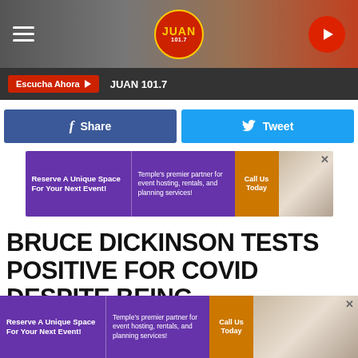[Figure (screenshot): Juan 101.7 radio station website header with logo, hamburger menu, and play button]
JUAN 101.7  Escucha Ahora
[Figure (screenshot): Facebook Share and Twitter Tweet social sharing buttons]
[Figure (other): Advertisement banner: Reserve A Unique Space For Your Next Event! - Temple's premier partner for event hosting, rentals, and planning services! Call Us Today]
BRUCE DICKINSON TESTS POSITIVE FOR COVID DESPITE BEING VACCINATED
Corey Irwin
[Figure (other): Advertisement banner: Reserve A Unique Space For Your Next Event! - Temple's premier partner for event hosting, rentals, and planning services! Call Us Today]